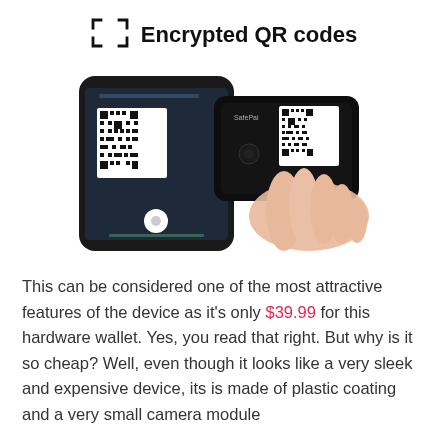Encrypted QR codes
[Figure (photo): A smartphone displaying a QR code on its screen, with a hand holding a black SafePal hardware wallet device that also shows a QR code on its screen.]
This can be considered one of the most attractive features of the device as it's only $39.99 for this hardware wallet. Yes, you read that right. But why is it so cheap? Well, even though it looks like a very sleek and expensive device, its is made of plastic coating and a very small camera module